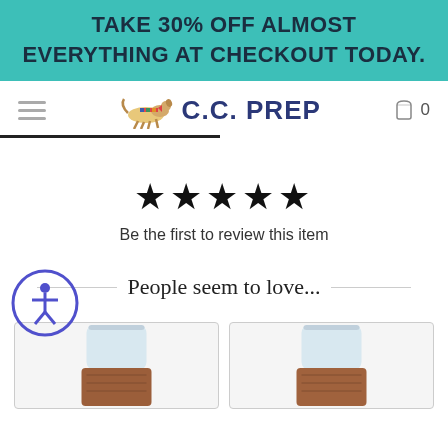TAKE 30% OFF ALMOST EVERYTHING AT CHECKOUT TODAY.
[Figure (logo): C.C. PREP logo with running fox/dog wearing a tartan scarf]
Be the first to review this item
People seem to love...
[Figure (photo): Two product photos showing koozie/can holders with a beverage can on top, brown leather exterior]
[Figure (other): Accessibility icon - circle with person figure]